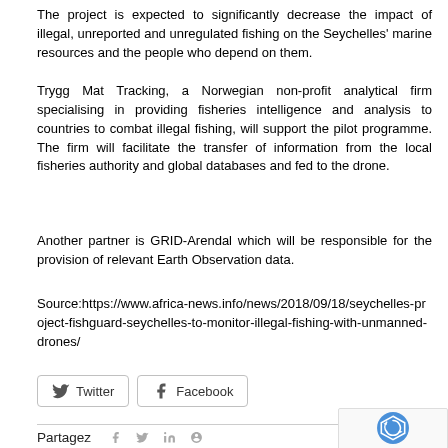The project is expected to significantly decrease the impact of illegal, unreported and unregulated fishing on the Seychelles' marine resources and the people who depend on them.
Trygg Mat Tracking, a Norwegian non-profit analytical firm specialising in providing fisheries intelligence and analysis to countries to combat illegal fishing, will support the pilot programme. The firm will facilitate the transfer of information from the local fisheries authority and global databases and fed to the drone.
Another partner is GRID-Arendal which will be responsible for the provision of relevant Earth Observation data.
Source:https://www.africa-news.info/news/2018/09/18/seychelles-project-fishguard-seychelles-to-monitor-illegal-fishing-with-unmanned-drones/
[Figure (other): Twitter and Facebook share buttons]
[Figure (other): Partagez social sharing row with Facebook, Twitter, LinkedIn, Pinterest icons]
[Figure (other): reCAPTCHA Privacy Terms widget]